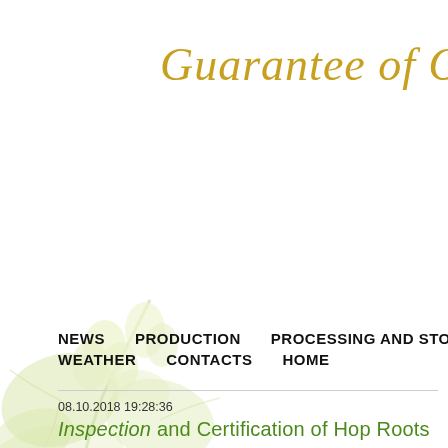Guarantee of Or…
[Figure (illustration): Faded watermark-style illustration of green hop plant with cones and leaves, positioned in the lower-left area of the page]
NEWS   PRODUCTION   PROCESSING AND STOCKING   WEATHER   CONTACTS   HOME
08.10.2018 19:28:36
Inspection and Certification of Hop Roots